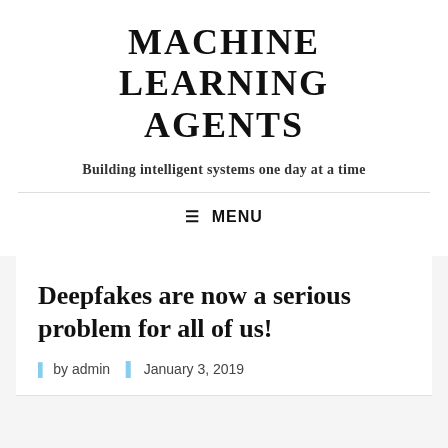MACHINE LEARNING AGENTS
Building intelligent systems one day at a time
☰ MENU
Deepfakes are now a serious problem for all of us!
by admin  January 3, 2019